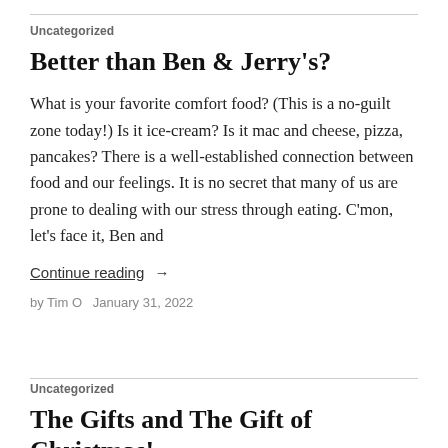Uncategorized
Better than Ben & Jerry's?
What is your favorite comfort food? (This is a no-guilt zone today!) Is it ice-cream? Is it mac and cheese, pizza, pancakes? There is a well-established connection between food and our feelings. It is no secret that many of us are prone to dealing with our stress through eating. C'mon, let's face it, Ben and
Continue reading  →
by Tim O   January 31, 2022
Uncategorized
The Gifts and The Gift of Christmas!